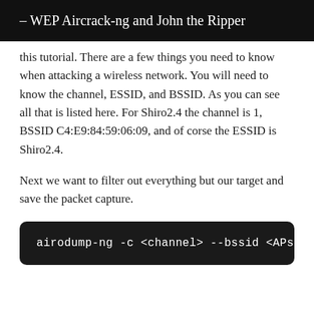– WEP Aircrack-ng and John the Ripper
this tutorial. There are a few things you need to know when attacking a wireless network. You will need to know the channel, ESSID, and BSSID. As you can see all that is listed here. For Shiro2.4 the channel is 1, BSSID C4:E9:84:59:06:09, and of corse the ESSID is Shiro2.4.
Next we want to filter out everything but our target and save the packet capture.
airodump-ng -c <channel> --bssid <APs BSSID>